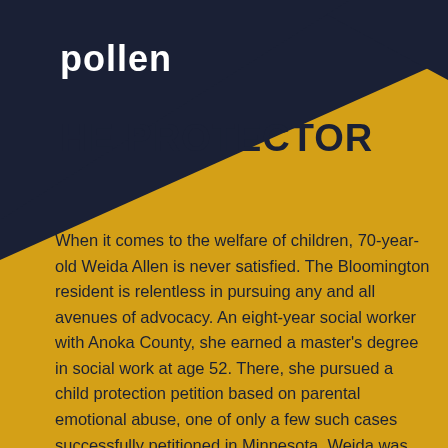pollen
HE PROTECTOR
When it comes to the welfare of children, 70-year-old Weida Allen is never satisfied. The Bloomington resident is relentless in pursuing any and all avenues of advocacy. An eight-year social worker with Anoka County, she earned a master's degree in social work at age 52. There, she pursued a child protection petition based on parental emotional abuse, one of only a few such cases successfully petitioned in Minnesota. Weida was also the first social worker involved in Ramsey County's All Children Excel (ACE) program from 1999-2002. Weida now works at the Children's Law Center of Minnesota, helping to provide legal representation, training, and support to attorneys who contribute their time to represent children. She also helps to give Minnesota kids a chance to grow up with their extended family by